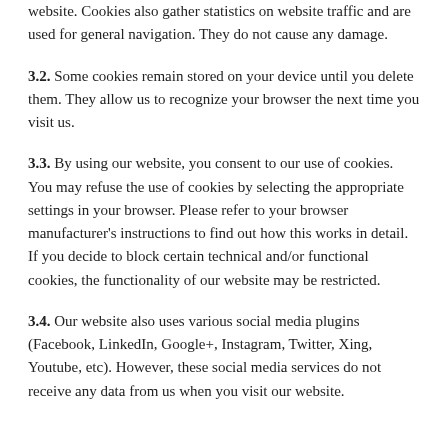website. Cookies also gather statistics on website traffic and are used for general navigation. They do not cause any damage.
3.2. Some cookies remain stored on your device until you delete them. They allow us to recognize your browser the next time you visit us.
3.3. By using our website, you consent to our use of cookies. You may refuse the use of cookies by selecting the appropriate settings in your browser. Please refer to your browser manufacturer's instructions to find out how this works in detail. If you decide to block certain technical and/or functional cookies, the functionality of our website may be restricted.
3.4. Our website also uses various social media plugins (Facebook, LinkedIn, Google+, Instagram, Twitter, Xing, Youtube, etc). However, these social media services do not receive any data from us when you visit our website.